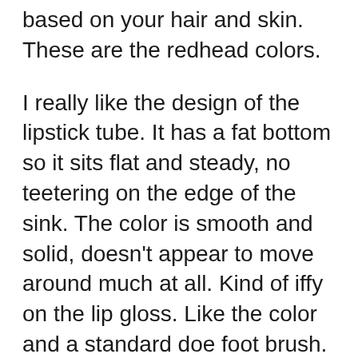based on your hair and skin. These are the redhead colors.
I really like the design of the lipstick tube. It has a fat bottom so it sits flat and steady, no teetering on the edge of the sink. The color is smooth and solid, doesn't appear to move around much at all. Kind of iffy on the lip gloss. Like the color and a standard doe foot brush. It is castor oil based and I can really taste it on my lips. It also has a bit of grit to it. I can deal with the castor oil, but the grit may be a deal breaker. It's not super gritty, but just enough to be annoying.
My LOL moment came when I saw the shipping box. This box is much too big and too